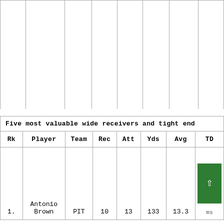| Rk | Player | Team | Rec | Att | Yds | Avg | TD |
| --- | --- | --- | --- | --- | --- | --- | --- |
| 1. | Antonio Brown | PIT | 10 | 13 | 133 | 13.3 | 2 |